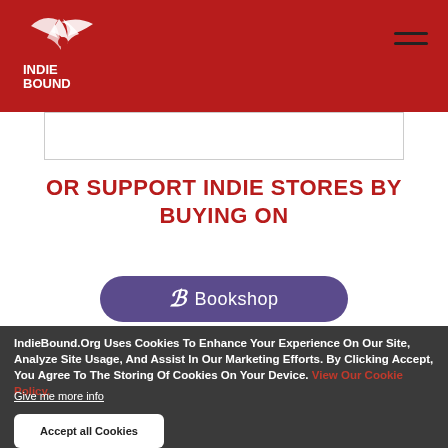[Figure (logo): IndieBound logo — white bird/book illustration with INDIEBOUND text on red background]
OR SUPPORT INDIE STORES BY BUYING ON
[Figure (logo): Bookshop.org purple rounded button with B logo and 'Bookshop' text]
IndieBound.Org Uses Cookies To Enhance Your Experience On Our Site, Analyze Site Usage, And Assist In Our Marketing Efforts. By Clicking Accept, You Agree To The Storing Of Cookies On Your Device. View Our Cookie Policy.
Give me more info
Accept all Cookies